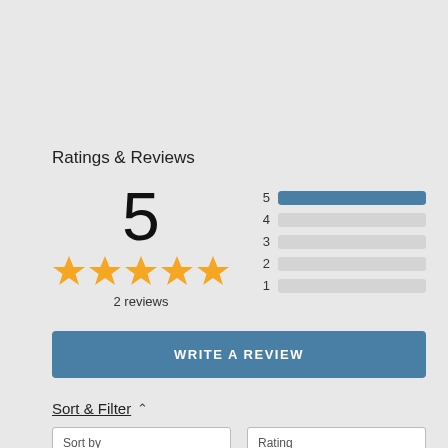Ratings & Reviews
[Figure (infographic): Rating summary showing score of 5 with 5 gold stars, 2 reviews, and a bar chart showing distribution of 1-5 star ratings with 5 stars fully filled and 4,3,2,1 stars empty]
WRITE A REVIEW
Sort & Filter ^
Sort by
Most recent
Rating
All